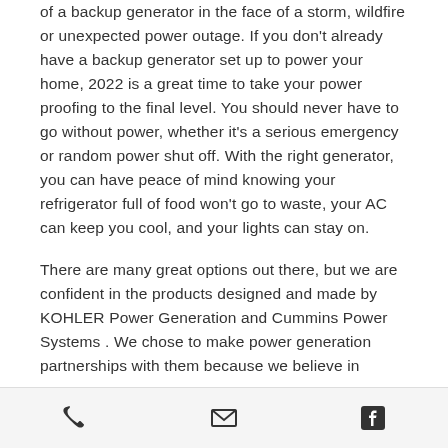of a backup generator in the face of a storm, wildfire or unexpected power outage. If you don't already have a backup generator set up to power your home, 2022 is a great time to take your power proofing to the final level. You should never have to go without power, whether it's a serious emergency or random power shut off. With the right generator, you can have peace of mind knowing your refrigerator full of food won't go to waste, your AC can keep you cool, and your lights can stay on.
There are many great options out there, but we are confident in the products designed and made by KOHLER Power Generation and Cummins Power Systems . We chose to make power generation partnerships with them because we believe in
[phone icon] [email icon] [facebook icon]